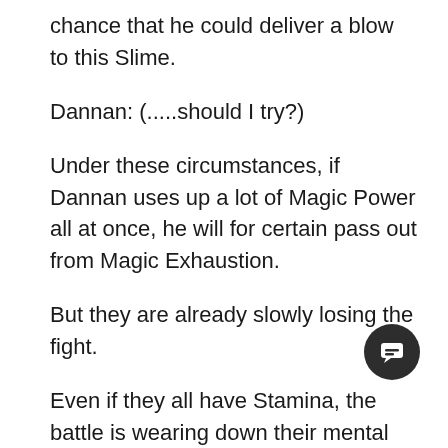chance that he could deliver a blow to this Slime.
Dannan: (.....should I try?)
Under these circumstances, if Dannan uses up a lot of Magic Power all at once, he will for certain pass out from Magic Exhaustion.
But they are already slowly losing the fight.
Even if they all have Stamina, the battle is wearing down their mental and emotional strengths, and it's only a matter of time before someone makes a critical mistake.
Dannan wanted to try and turn the